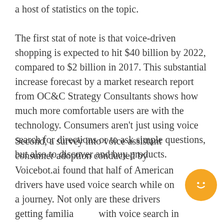a host of statistics on the topic.
The first stat of note is that voice-driven shopping is expected to hit $40 billion by 2022, compared to $2 billion in 2017. This substantial increase forecast by a market research report from OC&C Strategy Consultants shows how much more comfortable users are with the technology. Consumers aren't just using voice search for directions or to ask simple questions, but also to discover and buy products.
Second, a survey into voice assistant consumer adoption conducted by Voicebot.ai found that half of American drivers have used voice search while on a journey. Not only are these drivers getting familiar with voice search in general, they are also using it they travel. For your clients – restaurants, stores and more – this could be an opportunity to reach a